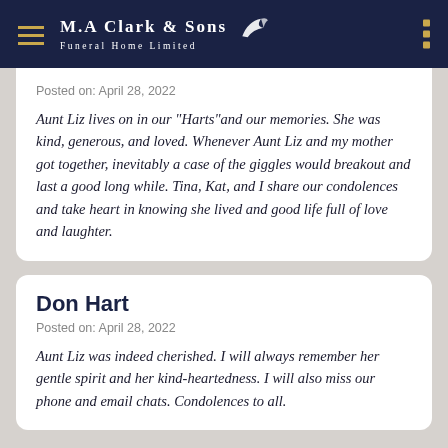M.A Clark & Sons Funeral Home Limited
Posted on: April 28, 2022
Aunt Liz lives on in our "Harts"and our memories. She was kind, generous, and loved. Whenever Aunt Liz and my mother got together, inevitably a case of the giggles would breakout and last a good long while. Tina, Kat, and I share our condolences and take heart in knowing she lived and good life full of love and laughter.
Don Hart
Posted on: April 28, 2022
Aunt Liz was indeed cherished. I will always remember her gentle spirit and her kind-heartedness. I will also miss our phone and email chats. Condolences to all.